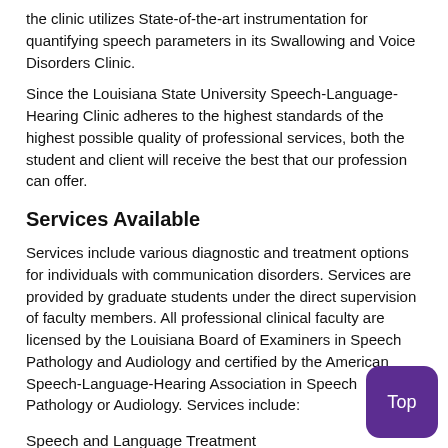the clinic utilizes State-of-the-art instrumentation for quantifying speech parameters in its Swallowing and Voice Disorders Clinic.
Since the Louisiana State University Speech-Language-Hearing Clinic adheres to the highest standards of the highest possible quality of professional services, both the student and client will receive the best that our profession can offer.
Services Available
Services include various diagnostic and treatment options for individuals with communication disorders. Services are provided by graduate students under the direct supervision of faculty members. All professional clinical faculty are licensed by the Louisiana Board of Examiners in Speech Pathology and Audiology and certified by the American Speech-Language-Hearing Association in Speech Pathology or Audiology. Services include:
Speech and Language Treatment
Speech Sound Disorders
Language Delay or Disorders
Fluency Disorders
Rehabilitation of the Laryngectomized Patient